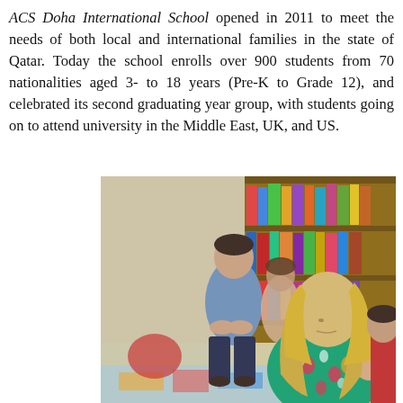ACS Doha International School opened in 2011 to meet the needs of both local and international families in the state of Qatar. Today the school enrolls over 900 students from 70 nationalities aged 3 to 18 years (Pre-K to Grade 12), and celebrated its second graduating year group, with students going on to attend university in the Middle East, UK, and US.
[Figure (photo): Children in a classroom setting. In the foreground, a girl with long blonde hair in a floral dress looks down. Beside her is another child in a red top. In the background, a boy in a blue/grey jacket stands with hands clasped, and another child is visible. Bookshelves with colorful books line the background. The floor has colorful mats.]